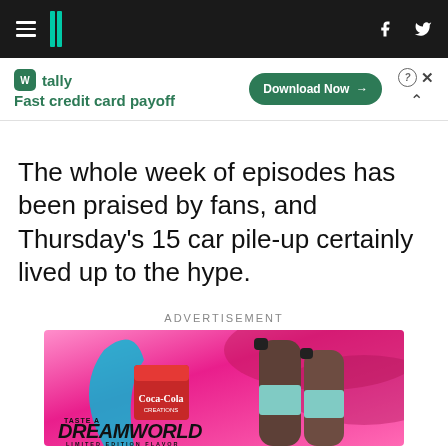HuffPost navigation header with hamburger menu, logo, Facebook and Twitter icons
[Figure (screenshot): Tally app advertisement banner: 'Fast credit card payoff' with Download Now button, close and collapse controls]
The whole week of episodes has been praised by fans, and Thursday's 15 car pile-up certainly lived up to the hype.
ADVERTISEMENT
[Figure (photo): Coca-Cola Creations Dreamworld Limited Edition Flavor advertisement with two Coca-Cola bottles on pink background with text 'TASTE A DREAMWORLD LIMITED EDITION FLAVOR']